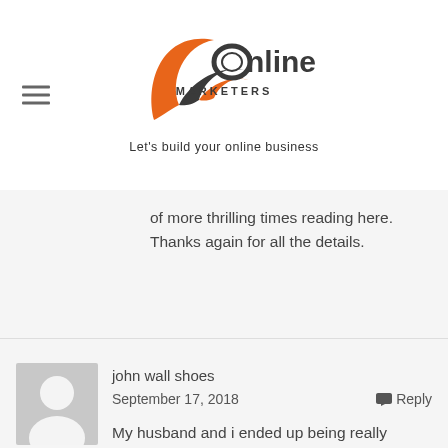[Figure (logo): JR Online Marketers logo with orange/dark swoosh and text 'Online Marketers - Let's build your online business']
or more thrilling times reading here. Thanks again for all the details.
john wall shoes
September 17, 2018
My husband and i ended up being really thrilled that John managed to finish off his web research using the ideas he had through the web site. It is now and again perplexing just to choose to be handing out thoughts that some others may have been